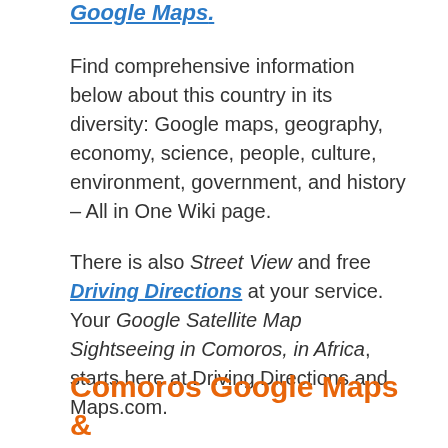Google Maps.
Find comprehensive information below about this country in its diversity: Google maps, geography, economy, science, people, culture, environment, government, and history – All in One Wiki page.
There is also Street View and free Driving Directions at your service. Your Google Satellite Map Sightseeing in Comoros, in Africa, starts here at Driving Directions and Maps.com.
Comoros Google Maps & Satellite Maps